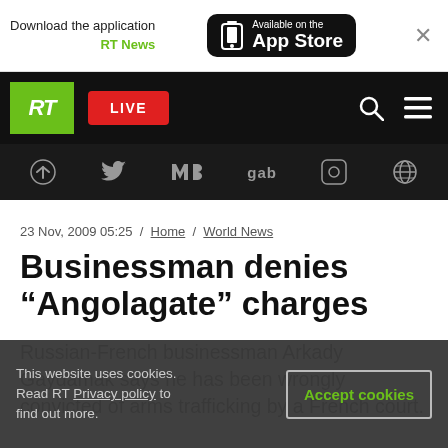Download the application RT News — Available on the App Store
[Figure (screenshot): RT News navigation bar with green RT logo, red LIVE button, search and menu icons]
[Figure (screenshot): Social media icon bar: Telegram, Twitter, VK, gab, Rumble, globe icon]
23 Nov, 2009 05:25 / Home / World News
Businessman denies “Angolagate” charges
Russian-French businessman Arkady Gaydamak says he has been wrongly convicted of arms trafficking by a French court.
This website uses cookies. Read RT Privacy policy to find out more.